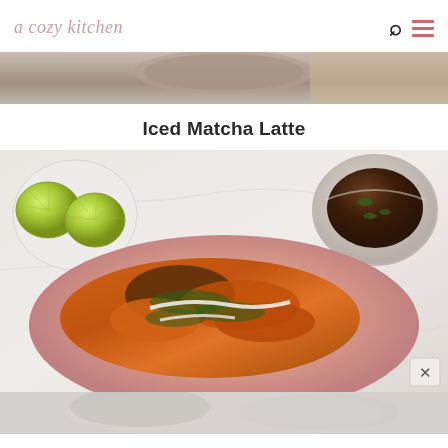a cozy kitchen
[Figure (photo): Partial food photo at top, showing a wooden/stone element on a marble surface]
Iced Matcha Latte
[Figure (photo): Overhead food photo on marble surface: pink plate with fried tacos topped with herbs and cream sauce, lime wedges on a white plate in the top-left, brown sauce in a bowl top-right]
[Figure (photo): Partial bottom photo, partially visible food/drink image]